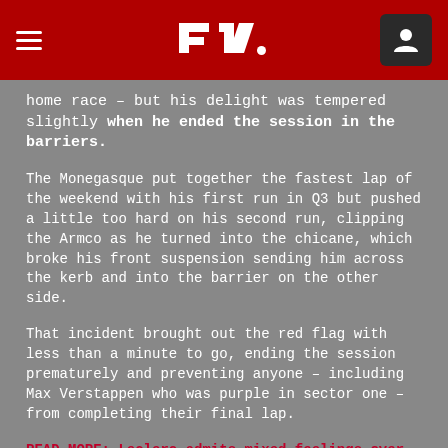F1 header navigation bar
home race – but his delight was tempered slightly when he ended the session in the barriers.
The Monegasque put together the fastest lap of the weekend with his first run in Q3 but pushed a little too hard on his second run, clipping the Armco as he turned into the chicane, which broke his front suspension sending him across the kerb and into the barrier on the other side.
That incident brought out the red flag with less than a minute to go, ending the session prematurely and preventing anyone – including Max Verstappen who was purple in sector one – from completing their final lap.
READ MORE: Leclerc admits mixed feelings over 'emotional' home pole, as he faces anxious wait over crash damage